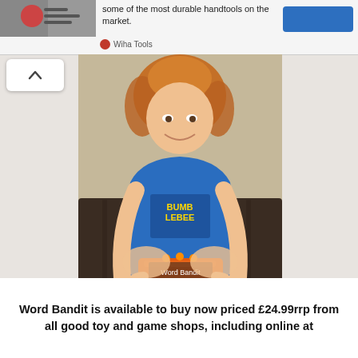some of the most durable handtools on the market.
Wiha Tools
[Figure (photo): Child with red curly hair wearing a blue Transformers t-shirt, crouching down and holding an orange and purple Word Bandit game on a blue cutting mat in front of a dark sofa.]
Word Bandit is available to buy now priced £24.99rrp from all good toy and game shops, including online at